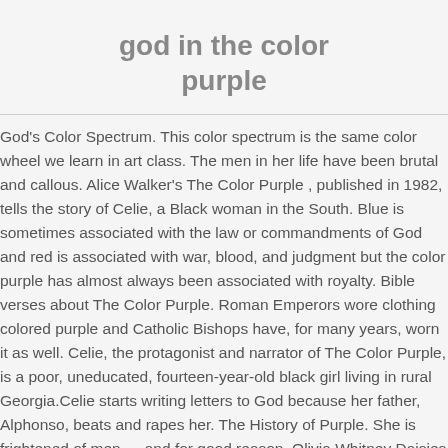god in the color purple
God's Color Spectrum. This color spectrum is the same color wheel we learn in art class. The men in her life have been brutal and callous. Alice Walker's The Color Purple , published in 1982, tells the story of Celie, a Black woman in the South. Blue is sometimes associated with the law or commandments of God and red is associated with war, blood, and judgment but the color purple has almost always been associated with royalty. Bible verses about The Color Purple. Roman Emperors wore clothing colored purple and Catholic Bishops have, for many years, worn it as well. Celie, the protagonist and narrator of The Color Purple, is a poor, uneducated, fourteen-year-old black girl living in rural Georgia.Celie starts writing letters to God because her father, Alphonso, beats and rapes her. The History of Purple. She is frightened of men — and for good reason. Olivia Whitney Daisies on, examining, she becomes this